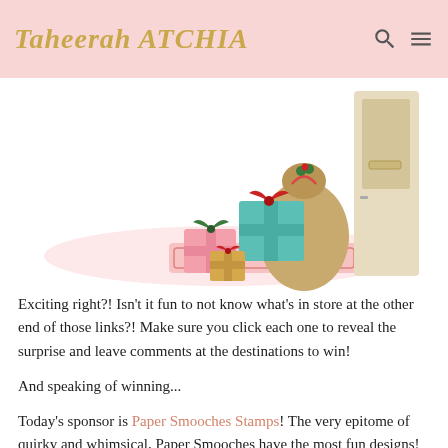Taheerah ATCHIA
[Figure (illustration): Illustration of wrapped Christmas gifts and a burlap sack in front of a cream-colored door on a pink doormat]
Exciting right?! Isn't it fun to not know what's in store at the other end of those links?! Make sure you click each one to reveal the surprise and leave comments at the destinations to win!
And speaking of winning...
Today's sponsor is Paper Smooches Stamps! The very epitome of quirky and whimsical, Paper Smooches have the most fun designs! They are headed up by my super sweet friend, Kim – this